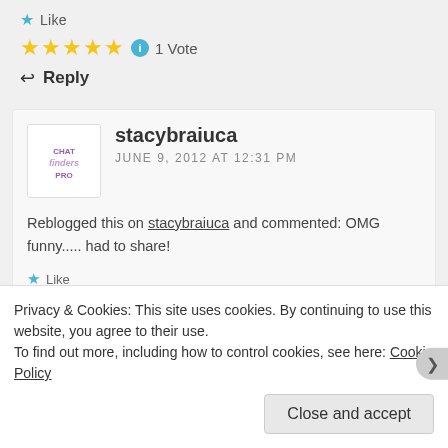★ Like
★★★★★ ℹ 1 Vote
↩ Reply
stacybraiuca
JUNE 9, 2012 AT 12:31 PM
Reblogged this on stacybraiuca and commented: OMG funny..... had to share!
★ Like
Privacy & Cookies: This site uses cookies. By continuing to use this website, you agree to their use.
To find out more, including how to control cookies, see here: Cookie Policy
Close and accept